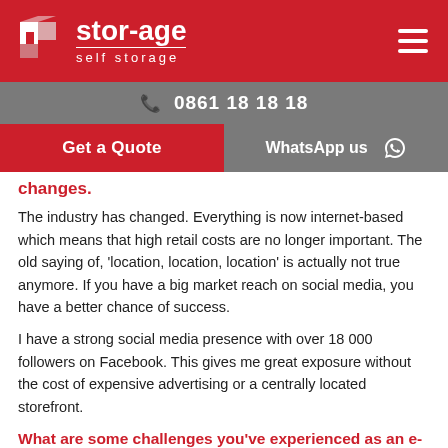stor-age self storage | 0861 18 18 18 | Get a Quote | WhatsApp us
changes.
The industry has changed. Everything is now internet-based which means that high retail costs are no longer important. The old saying of, 'location, location, location' is actually not true anymore. If you have a big market reach on social media, you have a better chance of success.
I have a strong social media presence with over 18 000 followers on Facebook. This gives me great exposure without the cost of expensive advertising or a centrally located storefront.
What are some challenges you've experienced as an e-commerce business and how did you tackle them?